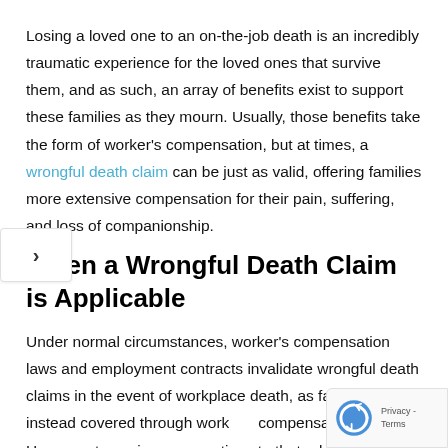Losing a loved one to an on-the-job death is an incredibly traumatic experience for the loved ones that survive them, and as such, an array of benefits exist to support these families as they mourn. Usually, those benefits take the form of worker's compensation, but at times, a wrongful death claim can be just as valid, offering families more extensive compensation for their pain, suffering, and loss of companionship.
When a Wrongful Death Claim is Applicable
Under normal circumstances, worker's compensation laws and employment contracts invalidate wrongful death claims in the event of workplace death, as families are instead covered through worker's compensation. However, two primary exceptions to that rule e...